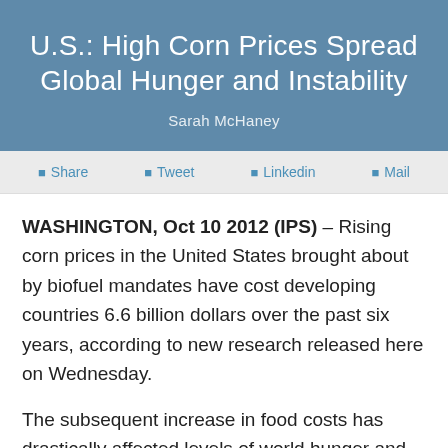U.S.: High Corn Prices Spread Global Hunger and Instability
Sarah McHaney
Share  Tweet  Linkedin  Mail
WASHINGTON, Oct 10 2012 (IPS) – Rising corn prices in the United States brought about by biofuel mandates have cost developing countries 6.6 billion dollars over the past six years, according to new research released here on Wednesday.
The subsequent increase in food costs has drastically affected levels of world hunger and, in some countries, political stability, according to the report, published by the global watchdog ActionAid. The report also warned of the